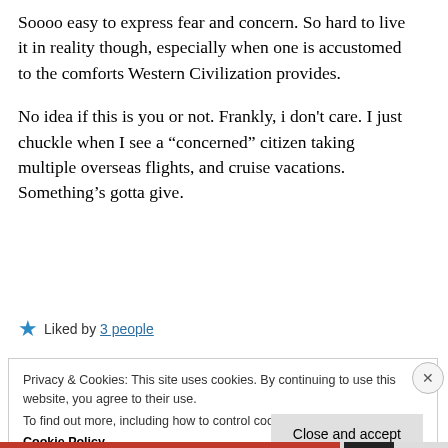Soooo easy to express fear and concern. So hard to live it in reality though, especially when one is accustomed to the comforts Western Civilization provides.
No idea if this is you or not. Frankly, i don't care. I just chuckle when I see a “concerned” citizen taking multiple overseas flights, and cruise vacations. Something’s gotta give.
★ Liked by 3 people
Privacy & Cookies: This site uses cookies. By continuing to use this website, you agree to their use.
To find out more, including how to control cookies, see here: Cookie Policy
Close and accept